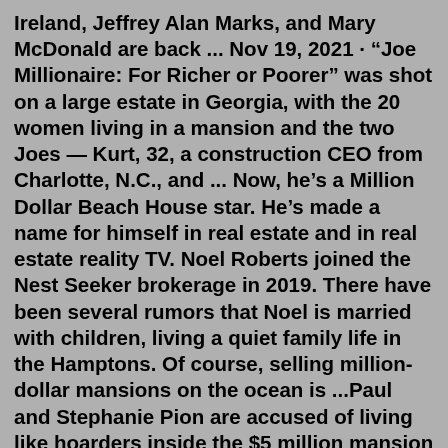Ireland, Jeffrey Alan Marks, and Mary McDonald are back ... Nov 19, 2021 · “Joe Millionaire: For Richer or Poorer” was shot on a large estate in Georgia, with the 20 women living in a mansion and the two Joes — Kurt, 32, a construction CEO from Charlotte, N.C., and ... Now, he’s a Million Dollar Beach House star. He’s made a name for himself in real estate and in real estate reality TV. Noel Roberts joined the Nest Seeker brokerage in 2019. There have been several rumors that Noel is married with children, living a quiet family life in the Hamptons. Of course, selling million-dollar mansions on the ocean is ...Paul and Stephanie Pion are accused of living like hoarders inside the $5 million mansion in the Hamptons. The prospective buyer, commercial real estate banker Aaron Appel, told the Mail, "This ...May 02, 2013 · Last year Holly Parker, an Elliman broker, said the show had staged a broker party at a penthouse at 100 11th Avenue that she had sold for $19.4 million. So brokers were ostensibly being ... 8 Keeping Up With The Kardashians Keeping Up With The Kardashians